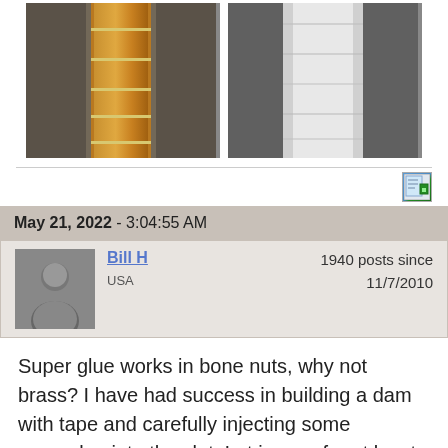[Figure (photo): Two photos: left shows a wooden guitar/banjo fretboard leaning against dark fabric; right shows a close-up grayscale image of a nut slot or groove in wood.]
May 21, 2022 - 3:04:55 AM
Bill H
USA
1940 posts since
11/7/2010
Super glue works in bone nuts, why not brass? I have had success in building a dam with tape and carefully injecting some superglue into the slot. Let is cure for at least 24 hours and then re-cut. Stew-Mac sells clear glue with micro tips that work great for injecting glue into tight places.